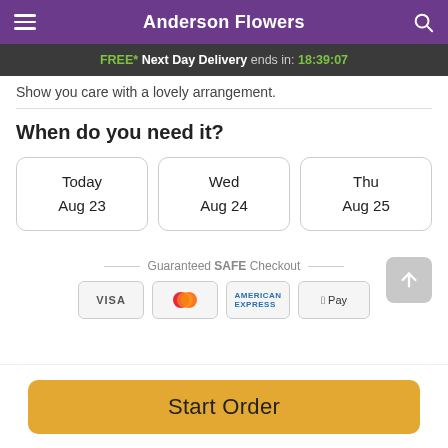Anderson Flowers
FREE* Next Day Delivery ends in: 18:39:07
Show you care with a lovely arrangement.
When do you need it?
Today Aug 23
Wed Aug 24
Thu Aug 25
Guaranteed SAFE Checkout
[Figure (other): Payment icons: VISA, Mastercard, American Express, Apple Pay]
Start Order